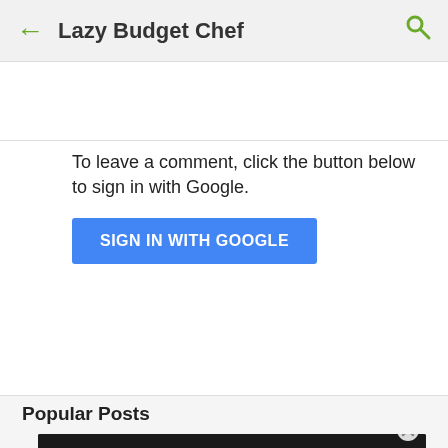Lazy Budget Chef
To leave a comment, click the button below to sign in with Google.
SIGN IN WITH GOOGLE
Popular Posts
[Figure (photo): A dark background photo showing what appears to be a metallic/glass bowl or pot, partially visible at the bottom of the page.]